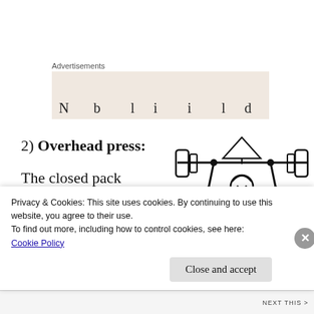Advertisements
[Figure (other): Advertisement placeholder box with partial text visible at the bottom]
2) Overhead press:
The closed pack position of a joint is the the point at which the joint
[Figure (illustration): Black and white line drawing of a muscular person performing an overhead press with a barbell]
Privacy & Cookies: This site uses cookies. By continuing to use this website, you agree to their use.
To find out more, including how to control cookies, see here:
Cookie Policy
Close and accept